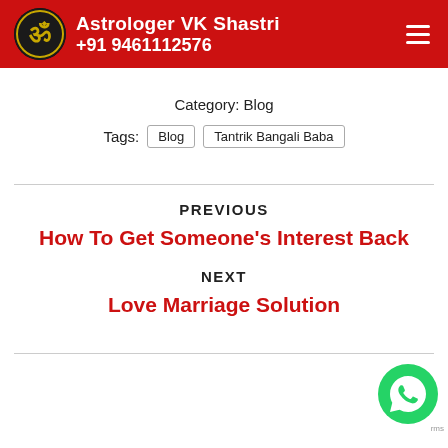Astrologer VK Shastri +91 9461112576
Category: Blog
Tags: Blog  Tantrik Bangali Baba
PREVIOUS
How To Get Someone's Interest Back
NEXT
Love Marriage Solution